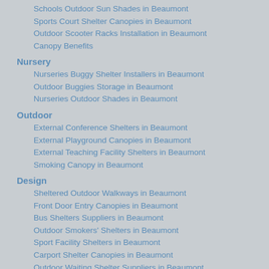Schools Outdoor Sun Shades in Beaumont
Sports Court Shelter Canopies in Beaumont
Outdoor Scooter Racks Installation in Beaumont
Canopy Benefits
Nursery
Nurseries Buggy Shelter Installers in Beaumont
Outdoor Buggies Storage in Beaumont
Nurseries Outdoor Shades in Beaumont
Outdoor
External Conference Shelters in Beaumont
External Playground Canopies in Beaumont
External Teaching Facility Shelters in Beaumont
Smoking Canopy in Beaumont
Design
Sheltered Outdoor Walkways in Beaumont
Front Door Entry Canopies in Beaumont
Bus Shelters Suppliers in Beaumont
Outdoor Smokers' Shelters in Beaumont
Sport Facility Shelters in Beaumont
Carport Shelter Canopies in Beaumont
Outdoor Waiting Shelter Suppliers in Beaumont
Industrial Canopy Suppliers in Beaumont